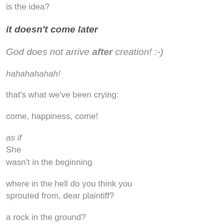is the idea?
it doesn't come later
God does not arrive after creation! :-)
hahahahahah!
that's what we've been crying:
come, happiness, come!
as if
She
wasn't in the beginning
where in the hell do you think you sprouted from, dear plaintiff?
a rock in the ground?
Miraculous Giver, Gifter of Life!